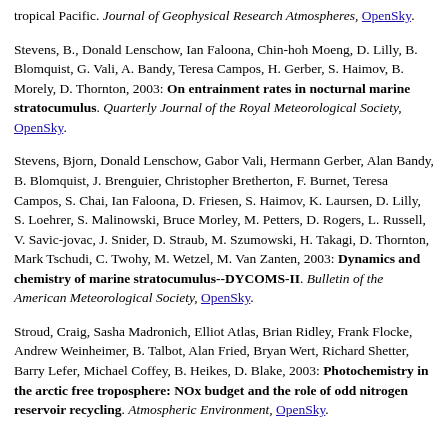tropical Pacific. Journal of Geophysical Research Atmospheres, OpenSky.
Stevens, B., Donald Lenschow, Ian Faloona, Chin-hoh Moeng, D. Lilly, B. Blomquist, G. Vali, A. Bandy, Teresa Campos, H. Gerber, S. Haimov, B. Morely, D. Thornton, 2003: On entrainment rates in nocturnal marine stratocumulus. Quarterly Journal of the Royal Meteorological Society, OpenSky.
Stevens, Bjorn, Donald Lenschow, Gabor Vali, Hermann Gerber, Alan Bandy, B. Blomquist, J. Brenguier, Christopher Bretherton, F. Burnet, Teresa Campos, S. Chai, Ian Faloona, D. Friesen, S. Haimov, K. Laursen, D. Lilly, S. Loehrer, S. Malinowski, Bruce Morley, M. Petters, D. Rogers, L. Russell, V. Savic-jovac, J. Snider, D. Straub, M. Szumowski, H. Takagi, D. Thornton, Mark Tschudi, C. Twohy, M. Wetzel, M. Van Zanten, 2003: Dynamics and chemistry of marine stratocumulus--DYCOMS-II. Bulletin of the American Meteorological Society, OpenSky.
Stroud, Craig, Sasha Madronich, Elliot Atlas, Brian Ridley, Frank Flocke, Andrew Weinheimer, B. Talbot, Alan Fried, Bryan Wert, Richard Shetter, Barry Lefer, Michael Coffey, B. Heikes, D. Blake, 2003: Photochemistry in the arctic free troposphere: NOx budget and the role of odd nitrogen reservoir recycling. Atmospheric Environment, OpenSky.